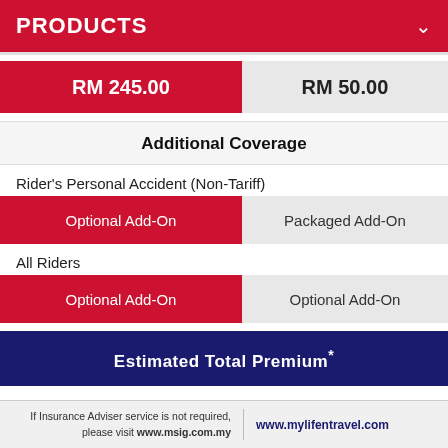PRODUCTS
| RM 245.00 | RM 50.00 |
| --- | --- |
Additional Coverage
Rider's Personal Accident (Non-Tariff)
| Optional Add-On | Packaged Add-On |
| --- | --- |
All Riders
| Optional Add-On | Optional Add-On |
| --- | --- |
Estimated Total Premium*
If Insurance Adviser service is not required, please visit www.msig.com.my  |  www.mylifentravel.com